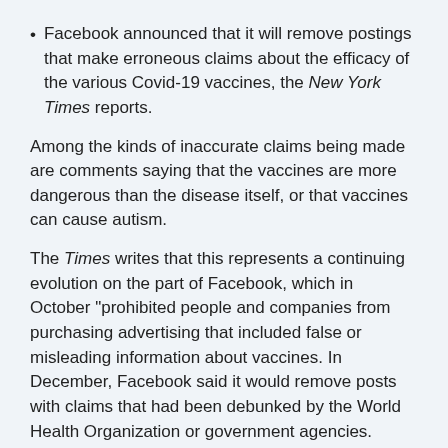Facebook announced that it will remove postings that make erroneous claims about the efficacy of the various Covid-19 vaccines, the New York Times reports.
Among the kinds of inaccurate claims being made are comments saying that the vaccines are more dangerous than the disease itself, or that vaccines can cause autism.
The Times writes that this represents a continuing evolution on the part of Facebook, which in October "prohibited people and companies from purchasing advertising that included false or misleading information about vaccines. In December, Facebook said it would remove posts with claims that had been debunked by the World Health Organization or government agencies.